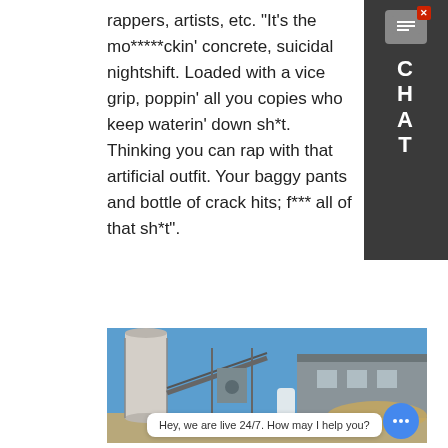rappers, artists, etc. "It's the mo*****ckin' concrete, suicidal nightshift. Loaded with a vice grip, poppin' all you copies who keep waterin' down sh*t. Thinking you can rap with that artificial outfit. Your baggy pants and bottle of crack hits; f*** all of that sh*t".
[Figure (other): Blue 'CHAT' sidebar widget with close button, speech bubble icon, and letters C H A T stacked vertically on dark gray background]
[Figure (photo): Photograph of an industrial concrete batching plant with a large white cylindrical silo, conveyor belts, scaffolding, and a corrugated metal warehouse building under a clear blue sky]
Hey, we are live 24/7. How may I help you?